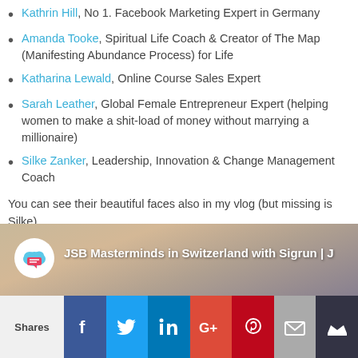Kathrin Hill, No 1. Facebook Marketing Expert in Germany
Amanda Tooke, Spiritual Life Coach & Creator of The Map (Manifesting Abundance Process) for Life
Katharina Lewald, Online Course Sales Expert
Sarah Leather, Global Female Entrepreneur Expert (helping women to make a shit-load of money without marrying a millionaire)
Silke Zanker, Leadership, Innovation & Change Management Coach
You can see their beautiful faces also in my vlog (but missing is Silke).
[Figure (screenshot): Video thumbnail showing JSB Masterminds in Switzerland with Sigrun, with a circular logo and blonde women in the background]
[Figure (infographic): Social share bar with Shares label and icons for Facebook, Twitter, LinkedIn, Google+, Pinterest, Email, and a crown icon]